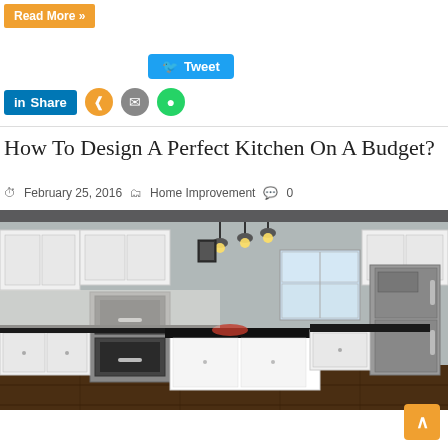Read More »
Tweet
Share
How To Design A Perfect Kitchen On A Budget?
February 25, 2016   Home Improvement   0
[Figure (photo): A modern kitchen with white cabinets, dark countertops, stainless steel appliances including double oven and refrigerator, pendant lights, and hardwood floors.]